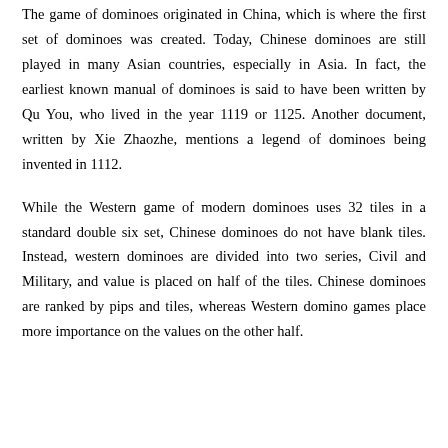The game of dominoes originated in China, which is where the first set of dominoes was created. Today, Chinese dominoes are still played in many Asian countries, especially in Asia. In fact, the earliest known manual of dominoes is said to have been written by Qu You, who lived in the year 1119 or 1125. Another document, written by Xie Zhaozhe, mentions a legend of dominoes being invented in 1112.
While the Western game of modern dominoes uses 32 tiles in a standard double six set, Chinese dominoes do not have blank tiles. Instead, western dominoes are divided into two series, Civil and Military, and value is placed on half of the tiles. Chinese dominoes are ranked by pips and tiles, whereas Western domino games place more importance on the values on the other half.